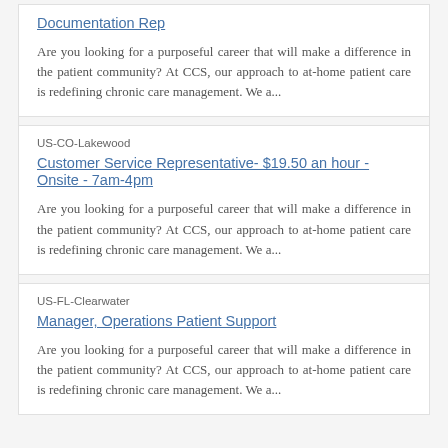Documentation Rep
Are you looking for a purposeful career that will make a difference in the patient community? At CCS, our approach to at-home patient care is redefining chronic care management. We a...
US-CO-Lakewood
Customer Service Representative- $19.50 an hour - Onsite - 7am-4pm
Are you looking for a purposeful career that will make a difference in the patient community? At CCS, our approach to at-home patient care is redefining chronic care management. We a...
US-FL-Clearwater
Manager, Operations Patient Support
Are you looking for a purposeful career that will make a difference in the patient community? At CCS, our approach to at-home patient care is redefining chronic care management. We a...